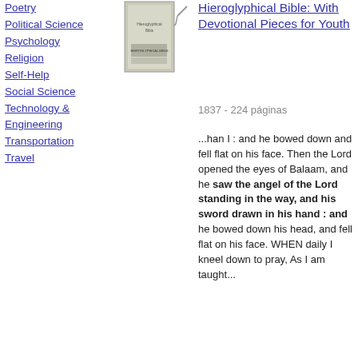Poetry
Political Science
Psychology
Religion
Self-Help
Social Science
Technology & Engineering
Transportation
Travel
[Figure (photo): Book cover thumbnail with pencil icon]
Hieroglyphical Bible: With Devotional Pieces for Youth
1837 - 224 páginas
...han I : and he bowed down and fell flat on his face. Then the Lord opened the eyes of Balaam, and he saw the angel of the Lord standing in the way, and his sword drawn in his hand : and he bowed down his head, and fell flat on his face. WHEN daily I kneel down to pray, As I am taught...